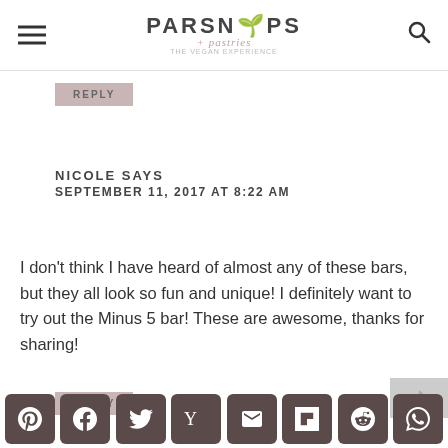PARSNIPS + pastries
REPLY
NICOLE SAYS
SEPTEMBER 11, 2017 AT 8:22 AM
I don't think I have heard of almost any of these bars, but they all look so fun and unique! I definitely want to try out the Minus 5 bar! These are awesome, thanks for sharing!
REPLY